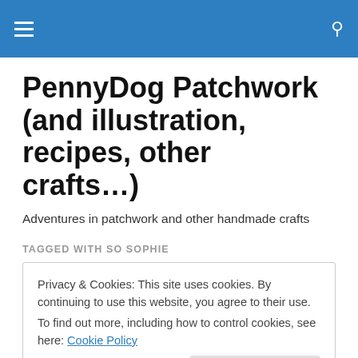≡  🔍
PennyDog Patchwork (and illustration, recipes, other crafts…)
Adventures in patchwork and other handmade crafts
TAGGED WITH SO SOPHIE
Privacy & Cookies: This site uses cookies. By continuing to use this website, you agree to their use.
To find out more, including how to control cookies, see here: Cookie Policy
[Close and accept]
sliders, bag feet and swivel clasps than anyone can use in